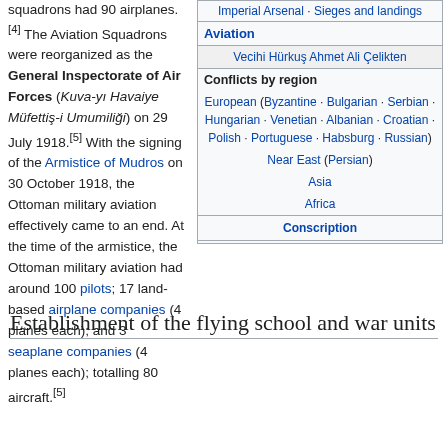Ottoman aviation squadrons had 90 airplanes.[4] The Aviation Squadrons were reorganized as the General Inspectorate of Air Forces (Kuva-yı Havaiye Müfettiş-i Umumiliği) on 29 July 1918.[5] With the signing of the Armistice of Mudros on 30 October 1918, the Ottoman military aviation effectively came to an end. At the time of the armistice, the Ottoman military aviation had around 100 pilots; 17 land-based airplane companies (4 planes each); and 3 seaplane companies (4 planes each); totalling 80 aircraft.[5]
| Imperial Arsenal · Sieges and landings |
| Aviation |
| Vecihi Hürkuş Ahmet Ali Çelikten |
| Conflicts by region |
| European (Byzantine · Bulgarian · Serbian · Hungarian · Venetian · Albanian · Croatian · Polish · Portuguese · Habsburg · Russian) |
| Near East (Persian) |
| Asia |
| Africa |
| Conscription |
Establishment of the flying school and war units